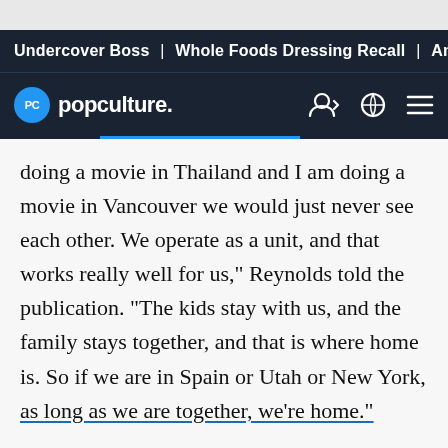Undercover Boss | Whole Foods Dressing Recall | Anastasia
popculture.
doing a movie in Thailand and I am doing a movie in Vancouver we would just never see each other. We operate as a unit, and that works really well for us," Reynolds told the publication. "The kids stay with us, and the family stays together, and that is where home is. So if we are in Spain or Utah or New York, as long as we are together, we're home."